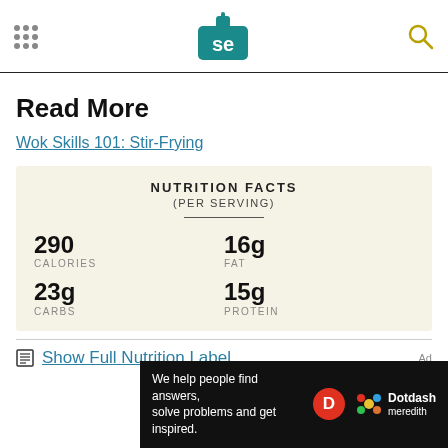Serious Eats (SE logo)
Read More
Wok Skills 101: Stir-Frying
| NUTRITION FACTS (PER SERVING) |  |
| --- | --- |
| 290 | 16g |
| CALORIES | FAT |
| 23g | 15g |
| CARBS | PROTEIN |
Show Full Nutrition Label
[Figure (other): Dotdash Meredith advertisement banner: 'We help people find answers, solve problems and get inspired.']